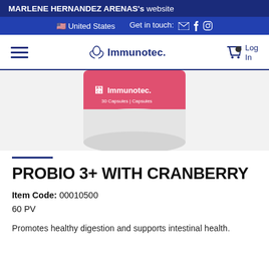MARLENE HERNANDEZ ARENAS's website
United States   Get in touch:
Immunotec.  Log In
[Figure (photo): Partial view of an Immunotec supplement bottle with a pink/coral top and white base. Label reads 'Immunotec.' and '30 Capsules | Capsules']
PROBIO 3+ WITH CRANBERRY
Item Code: 00010500
60 PV
Promotes healthy digestion and supports intestinal health.